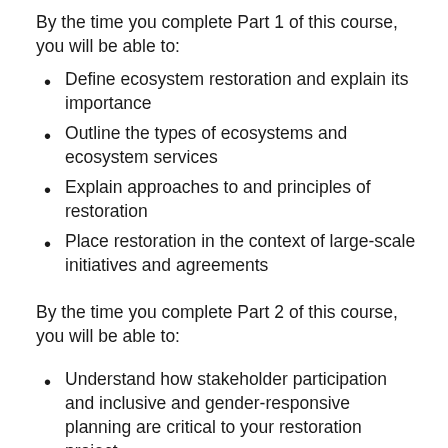By the time you complete Part 1 of this course, you will be able to:
Define ecosystem restoration and explain its importance
Outline the types of ecosystems and ecosystem services
Explain approaches to and principles of restoration
Place restoration in the context of large-scale initiatives and agreements
By the time you complete Part 2 of this course, you will be able to:
Understand how stakeholder participation and inclusive and gender-responsive planning are critical to your restoration project